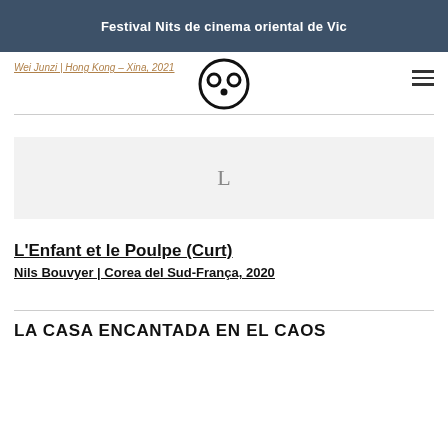Festival Nits de cinema oriental de Vic
Wei Junzi | Hong Kong – Xina, 2021
[Figure (logo): Stylized panda face logo with circular eyes and nose]
[Figure (other): Image placeholder showing letter L on grey background]
L'Enfant et le Poulpe (Curt)
Nils Bouvyer | Corea del Sud-França, 2020
LA CASA ENCANTADA EN EL CAOS